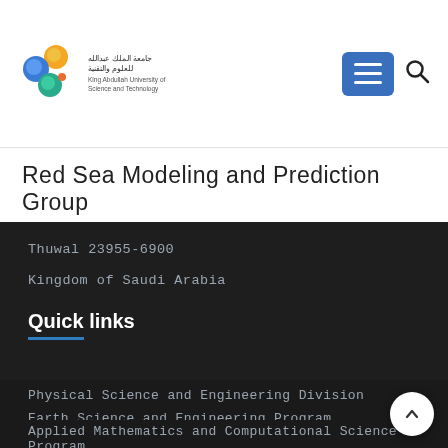[Figure (logo): King Abdullah University of Science and Technology logo with colorful circular icons and Arabic/English text]
Red Sea Modeling and Prediction Group
Thuwal 23955-6900
Kingdom of Saudi Arabia
Quick links
Physical Science and Engineering Division
Earth Science and Engineering Program
Applied Mathematics and Computational Science Program
Marine Science Program